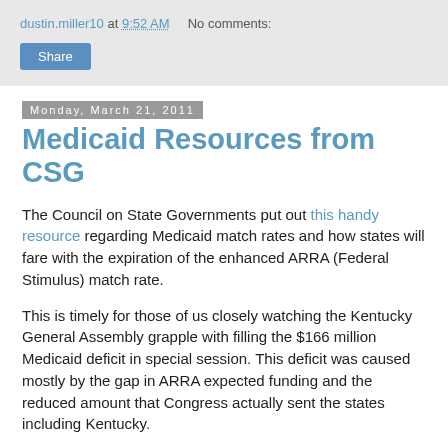dustin.miller10 at 9:52 AM   No comments:
Share
Monday, March 21, 2011
Medicaid Resources from CSG
The Council on State Governments put out this handy resource regarding Medicaid match rates and how states will fare with the expiration of the enhanced ARRA (Federal Stimulus) match rate.
This is timely for those of us closely watching the Kentucky General Assembly grapple with filling the $166 million Medicaid deficit in special session. This deficit was caused mostly by the gap in ARRA expected funding and the reduced amount that Congress actually sent the states including Kentucky.
Some of the most helpful information in the CSG post was